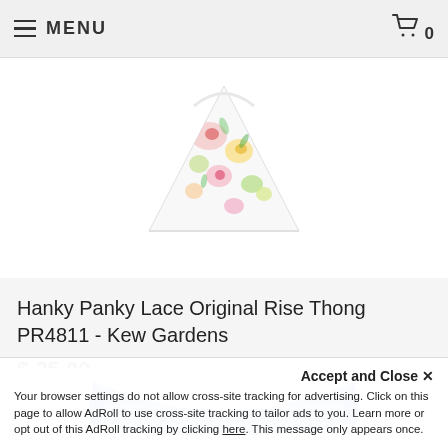≡ MENU  🛒 0
[Figure (photo): Floral print thong underwear, top portion visible, white background]
Hanky Panky Lace Original Rise Thong PR4811 - Kew Gardens
$ 25.00
[Figure (photo): Small white thumbnail swatch box]
[Figure (photo): Blue striped thong underwear, partial view showing elastic waistband, white background]
Accept and Close ✕
Your browser settings do not allow cross-site tracking for advertising. Click on this page to allow AdRoll to use cross-site tracking to tailor ads to you. Learn more or opt out of this AdRoll tracking by clicking here. This message only appears once.